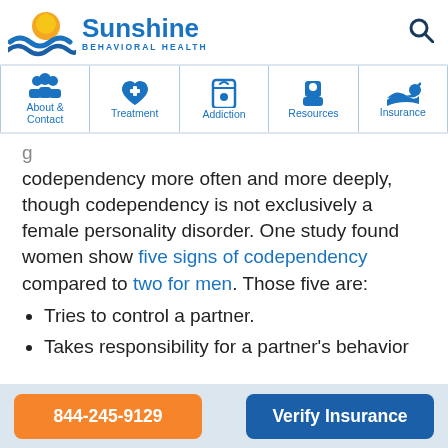[Figure (logo): Sunshine Behavioral Health logo with sun and waves graphic]
Sunshine BEHAVIORAL HEALTH
[Figure (infographic): Navigation bar with icons: About & Contact, Treatment, Addiction, Resources, Insurance]
codependency more often and more deeply, though codependency is not exclusively a female personality disorder. One study found women show five signs of codependency compared to two for men. Those five are:
Tries to control a partner.
Takes responsibility for a partner's behavior